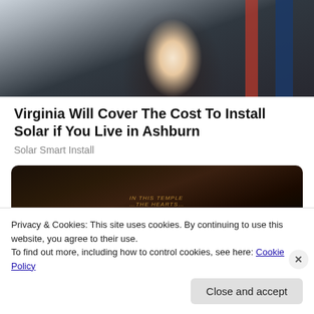[Figure (photo): Woman in dark blazer with white collar shirt, partial face visible from nose down, flags visible in background (red and blue/dark)]
Virginia Will Cover The Cost To Install Solar if You Live in Ashburn
Solar Smart Install
[Figure (photo): Dark image of what appears to be a stone or engraved surface with text reading 'IN THIS TEMPLE' and partial text below]
Privacy & Cookies: This site uses cookies. By continuing to use this website, you agree to their use.
To find out more, including how to control cookies, see here: Cookie Policy
Close and accept